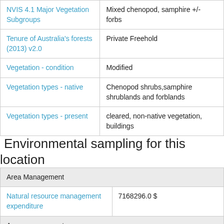| Attribute | Value |
| --- | --- |
| NVIS 4.1 Major Vegetation Subgroups | Mixed chenopod, samphire +/- forbs |
| Tenure of Australia's forests (2013) v2.0 | Private Freehold |
| Vegetation - condition | Modified |
| Vegetation types - native | Chenopod shrubs,samphire shrublands and forblands |
| Vegetation types - present | cleared, non-native vegetation, buildings |
Environmental sampling for this location
| Attribute | Value |
| --- | --- |
| Area Management |  |
| Natural resource management expenditure | 7168296.0 $ |
| Area management |  |
| Phosphorus | 0.014397 t/ha |
| Potassium | 0.028358 t/ha |